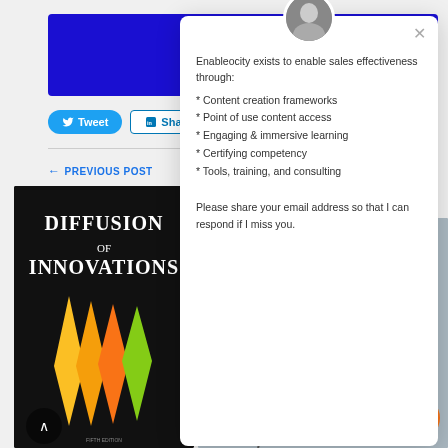[Figure (screenshot): Blue banner header with text 'Boring Po...' and 'learn Vis...' in white bold on dark blue background]
[Figure (screenshot): Tweet and Share social media buttons]
← PREVIOUS POST
[Figure (photo): Book cover: Diffusion of Innovations, Fifth Edition, with colorful arrow shapes on dark background]
[Figure (photo): Right side background image - grey/blue winter scene]
[Figure (infographic): Modal popup with avatar, close button, intro text, bullet list, and email request. Enableocity exists to enable sales effectiveness through: * Content creation frameworks * Point of use content access * Engaging & immersive learning * Certifying competency * Tools, training, and consulting. Please share your email address so that I can respond if I miss you.]